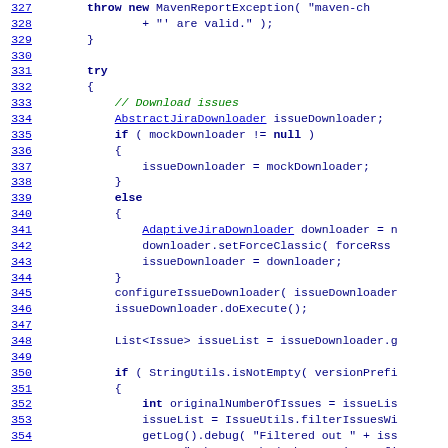[Figure (screenshot): Source code listing showing Java code with line numbers 327-356, including try-catch block with issue downloader logic]